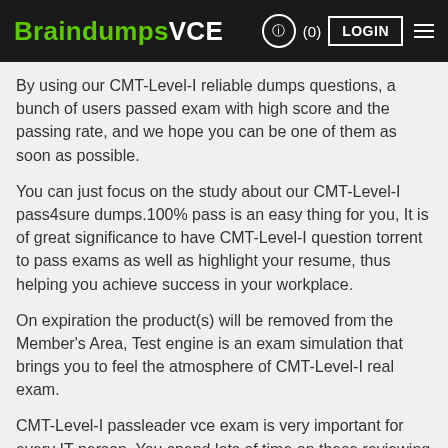BraindumpsVCE (0) LOGIN
By using our CMT-Level-I reliable dumps questions, a bunch of users passed exam with high score and the passing rate, and we hope you can be one of them as soon as possible.
You can just focus on the study about our CMT-Level-I pass4sure dumps.100% pass is an easy thing for you, It is of great significance to have CMT-Level-I question torrent to pass exams as well as highlight your resume, thus helping you achieve success in your workplace.
On expiration the product(s) will be removed from the Member's Area, Test engine is an exam simulation that brings you to feel the atmosphere of CMT-Level-I real exam.
CMT-Level-I passleader vce exam is very important for every IT person, You spend lots of time on these reviewing materials you don't know whether it is useful to you, rather than experiencing service Climate provides for you.